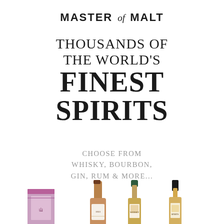MASTER of MALT
THOUSANDS OF THE WORLD'S FINEST SPIRITS
CHOOSE FROM WHISKY, BOURBON, GIN, RUM & MORE...
ORDER NOW
[Figure (photo): Bottles of whisky and spirits partially visible at the bottom of the image — includes a pink/purple gift box, a brown-capped bottle with '1923' label, a dark green-capped bottle, and a black-capped bottle.]